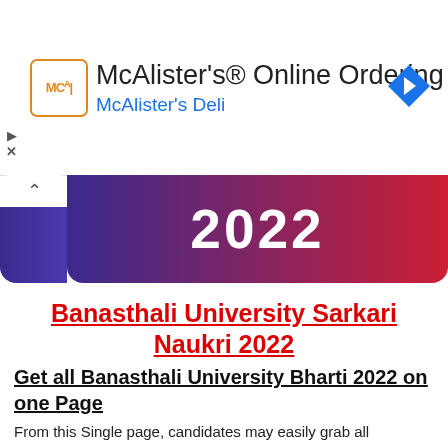[Figure (other): McAlister's Online Ordering advertisement banner with logo, title, subtitle and arrow icon]
[Figure (other): Gradient banner with year 2022 in white bold text, purple to red gradient background]
Banasthali University Sarkari Naukri 2022
Get all Banasthali University Bharti 2022 on one Page
From this Single page, candidates may easily grab all Banasthali University Recruitment 2022. There are so many Banasthali University updates that We will share with you guys on time. You need to be with us and collect the best news of